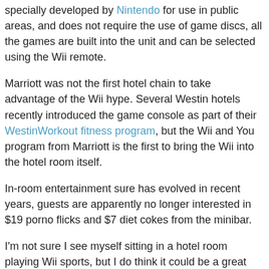specially developed by Nintendo for use in public areas, and does not require the use of game discs, all the games are built into the unit and can be selected using the Wii remote.
Marriott was not the first hotel chain to take advantage of the Wii hype. Several Westin hotels recently introduced the game console as part of their WestinWorkout fitness program, but the Wii and You program from Marriott is the first to bring the Wii into the hotel room itself.
In-room entertainment sure has evolved in recent years, guests are apparently no longer interested in $19 porno flicks and $7 diet cokes from the minibar.
I'm not sure I see myself sitting in a hotel room playing Wii sports, but I do think it could be a great way to keep the kids entertained while mommy and daddy enjoy some adult conversation, so kudos to Marriott for this innovation.